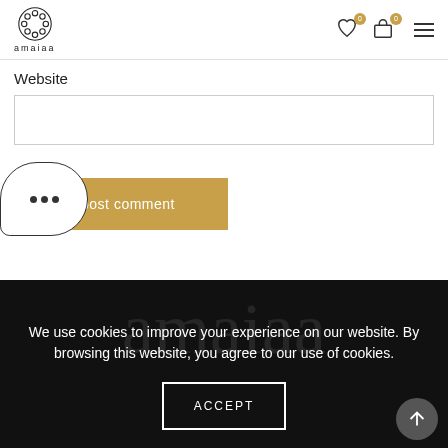[Figure (logo): Amaiaa brand logo with decorative circle motif and lowercase brand name]
Website
[Figure (screenshot): Empty website input text field]
[Figure (other): Chat bubble with three dots and 'post comment' button in gold/tan color]
We use cookies to improve your experience on our website. By browsing this website, you agree to our use of cookies.
[Figure (other): ACCEPT button with white border on dark background, and back-to-top circular arrow button]